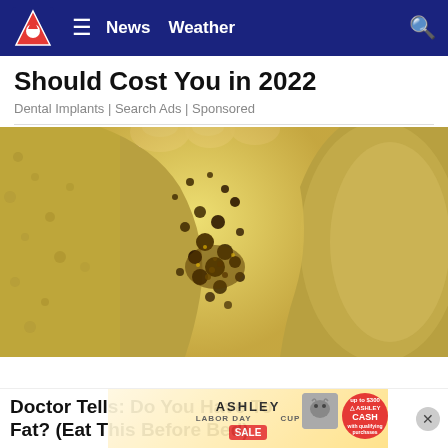News  Weather
Should Cost You in 2022
Dental Implants | Search Ads | Sponsored
[Figure (photo): Close-up photo of a yellowish translucent strip or wax being held by fingers, covered with dark brown grainy particles or debris, over a textured surface.]
Doctor Tells: Do You Have To lly Fat? (Eat This Before Bed)